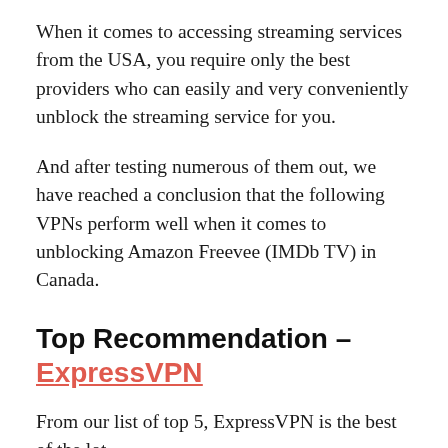When it comes to accessing streaming services from the USA, you require only the best providers who can easily and very conveniently unblock the streaming service for you.
And after testing numerous of them out, we have reached a conclusion that the following VPNs perform well when it comes to unblocking Amazon Freevee (IMDb TV) in Canada.
Top Recommendation – ExpressVPN
From our list of top 5, ExpressVPN is the best of the lot.